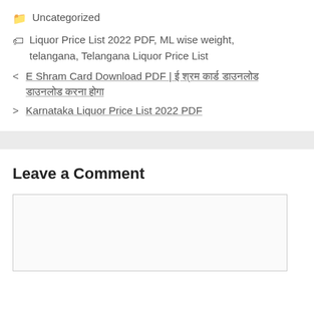Uncategorized
Liquor Price List 2022 PDF, ML wise weight, telangana, Telangana Liquor Price List
< E Shram Card Download PDF | ई श्रम कार्ड डाउनलोड करना होगा
> Karnataka Liquor Price List 2022 PDF
Leave a Comment
[Figure (other): Empty comment text area input box]